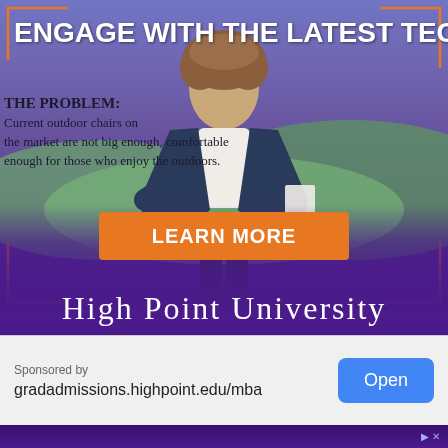[Figure (photo): University advertisement showing a young man with curly hair in a dark blazer presenting/speaking on stage with a landscape backdrop, text overlay about latest tech and outdoor chairs problem]
ENGAGE WITH THE LATEST TECH
THE PROBLEM: Current outdoor chairs on the market are not big enough, comfortable enough for those who enjoy the outdoors.
LEARN MORE
HIGH POINT UNIVERSITY
Sponsored by
gradadmissions.highpoint.edu/mba
Open